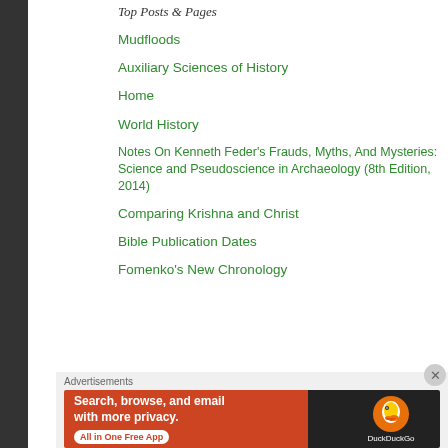Top Posts & Pages
Mudfloods
Auxiliary Sciences of History
Home
World History
Notes On Kenneth Feder's Frauds, Myths, And Mysteries: Science and Pseudoscience in Archaeology (8th Edition, 2014)
Comparing Krishna and Christ
Bible Publication Dates
Fomenko's New Chronology
Advertisements
[Figure (screenshot): DuckDuckGo advertisement banner: 'Search, browse, and email with more privacy. All in One Free App' with DuckDuckGo logo on dark background]